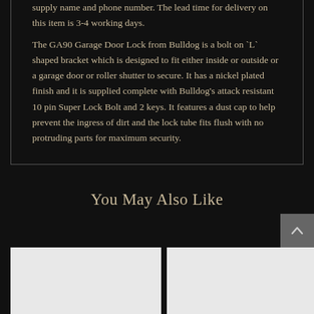supply name and phone number. The lead time for delivery on this item is 3-4 working days.
The GA90 Garage Door Lock from Bulldog is a bolt on `L` shaped bracket which is designed to fit either inside or outside or a garage door or roller shutter to secure. It has a nickel plated finish and it is supplied complete with Bulldog’s attack resistant 10 pin Super Lock Bolt and 2 keys. It features a dust cap to help prevent the ingress of dirt and the lock tube fits flush with no protruding parts for maximum security.
You May Also Like
[Figure (photo): Two product image placeholder cards (light grey) shown at the bottom of the page under 'You May Also Like' section. A scroll-to-top button (dark grey with up arrow) overlaps the right card.]